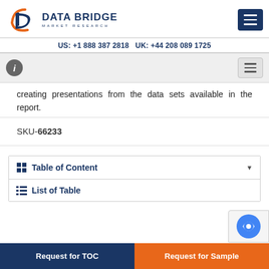DATA BRIDGE MARKET RESEARCH | US: +1 888 387 2818 UK: +44 208 089 1725
creating presentations from the data sets available in the report.
SKU-66233
Table of Content
List of Table